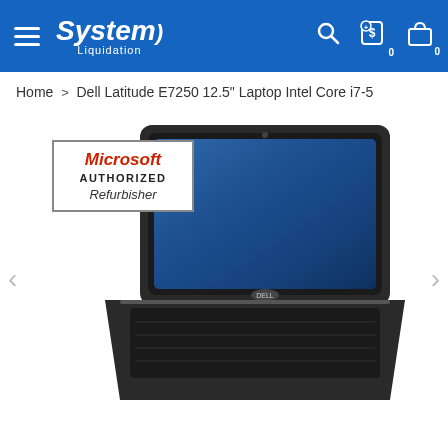[Figure (logo): System Liquidation website header with blue background, hamburger menu, System Liquidation logo in italic white text, search icon, cart icons with 0 badges]
Home > Dell Latitude E7250 12.5" Laptop Intel Core i7-5
[Figure (photo): Dell Latitude E7250 laptop open at an angle showing blue-lit screen, with a Microsoft Authorized Refurbisher badge overlay in the upper left. Navigation arrows on left and right sides.]